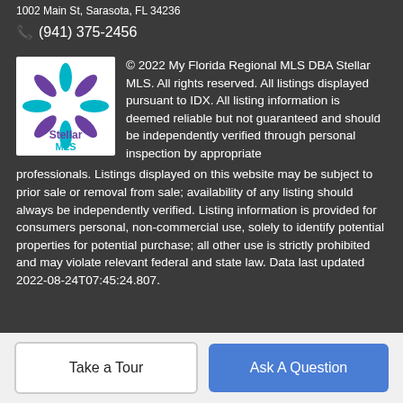1002 Main St, Sarasota, FL 34236
(941) 375-2456
[Figure (logo): Stellar MLS logo with purple and teal flower design]
© 2022 My Florida Regional MLS DBA Stellar MLS. All rights reserved. All listings displayed pursuant to IDX. All listing information is deemed reliable but not guaranteed and should be independently verified through personal inspection by appropriate professionals. Listings displayed on this website may be subject to prior sale or removal from sale; availability of any listing should always be independently verified. Listing information is provided for consumers personal, non-commercial use, solely to identify potential properties for potential purchase; all other use is strictly prohibited and may violate relevant federal and state law. Data last updated 2022-08-24T07:45:24.807.
Take a Tour
Ask A Question